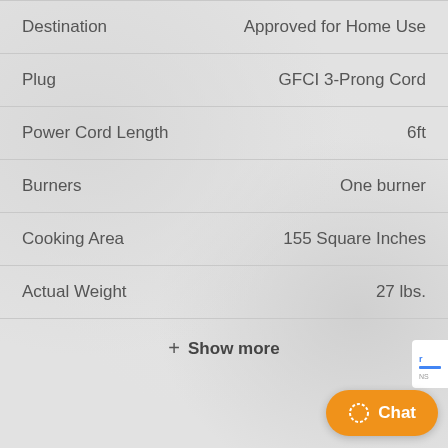| Attribute | Value |
| --- | --- |
| Destination | Approved for Home Use |
| Plug | GFCI 3-Prong Cord |
| Power Cord Length | 6ft |
| Burners | One burner |
| Cooking Area | 155 Square Inches |
| Actual Weight | 27 lbs. |
+ Show more